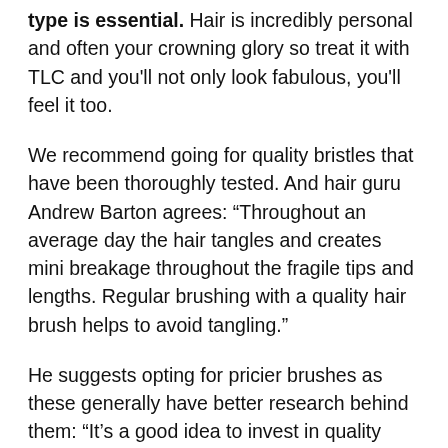type is essential. Hair is incredibly personal and often your crowning glory so treat it with TLC and you'll not only look fabulous, you'll feel it too.
We recommend going for quality bristles that have been thoroughly tested. And hair guru Andrew Barton agrees: “Throughout an average day the hair tangles and creates mini breakage throughout the fragile tips and lengths. Regular brushing with a quality hair brush helps to avoid tangling.”
He suggests opting for pricier brushes as these generally have better research behind them: “It’s a good idea to invest in quality brushes from some of the renowned brush brands like GHD, Denman, Mason & Pearson or Kent. All of which will have gone through rigorous testing and quality control.